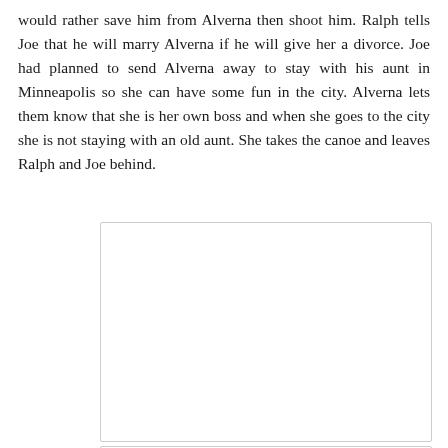would rather save him from Alverna then shoot him. Ralph tells Joe that he will marry Alverna if he will give her a divorce. Joe had planned to send Alverna away to stay with his aunt in Minneapolis so she can have some fun in the city. Alverna lets them know that she is her own boss and when she goes to the city she is not staying with an old aunt. She takes the canoe and leaves Ralph and Joe behind.
[Figure (other): Blank white rectangular image placeholder with light gray border]
[Figure (other): Blank white rectangular image placeholder with light gray border, partially visible]